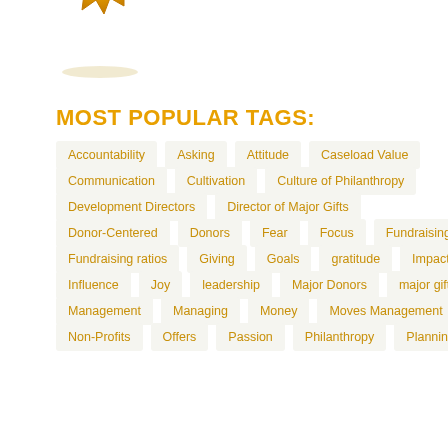[Figure (illustration): Gold badge/seal illustration, partially cropped at top of page]
MOST POPULAR TAGS:
Accountability
Asking
Attitude
Caseload Value
Communication
Cultivation
Culture of Philanthropy
Development Directors
Director of Major Gifts
Donor-Centered
Donors
Fear
Focus
Fundraising
Fundraising ratios
Giving
Goals
gratitude
Impact
Influence
Joy
leadership
Major Donors
major gifts
Management
Managing
Money
Moves Management
Non-Profits
Offers
Passion
Philanthropy
Planning